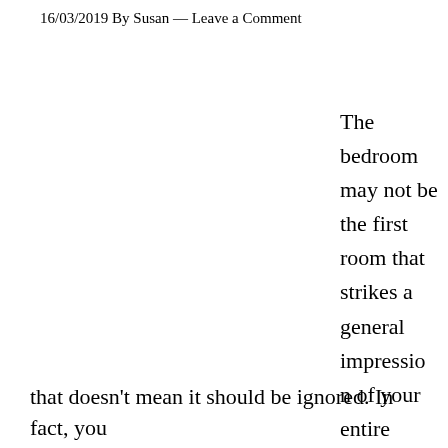16/03/2019 By Susan — Leave a Comment
The bedroom may not be the first room that strikes a general impression of your entire house but that doesn't mean it should be ignored. In fact, you